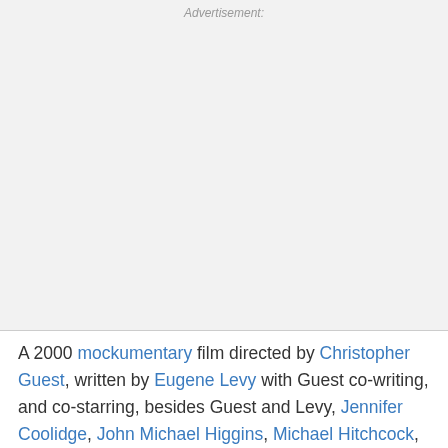[Figure (other): Advertisement placeholder area with light gray background and 'Advertisement:' label at top center]
A 2000 mockumentary film directed by Christopher Guest, written by Eugene Levy with Guest co-writing, and co-starring, besides Guest and Levy, Jennifer Coolidge, John Michael Higgins, Michael Hitchcock, Jane Lynch, Michael